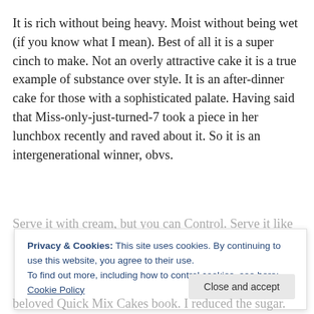It is rich without being heavy. Moist without being wet (if you know what I mean). Best of all it is a super cinch to make. Not an overly attractive cake it is a true example of substance over style. It is an after-dinner cake for those with a sophisticated palate. Having said that Miss-only-just-turned-7 took a piece in her lunchbox recently and raved about it. So it is an intergenerational winner, obvs.
Privacy & Cookies: This site uses cookies. By continuing to use this website, you agree to their use. To find out more, including how to control cookies, see here: Cookie Policy
beloved Quick Mix Cakes book. I reduced the sugar.